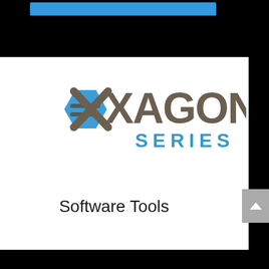[Figure (logo): eXagon Series logo — blue hexagon on left with stylized 'e' and two horizontal lines; large 'XAGON' text in dark brown/taupe; 'SERIES' in blue below]
Software Tools